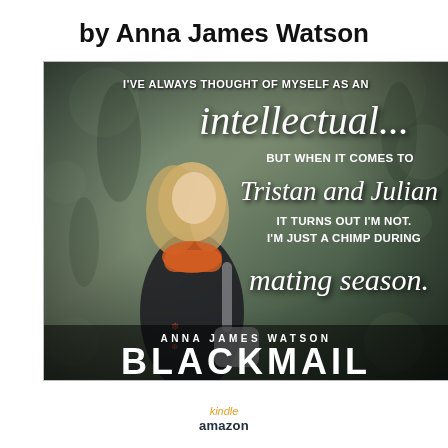by Anna James Watson
[Figure (illustration): Book promotional image for 'Blackmail' by Anna James Watson. Features a young blonde woman with a scarf, carrying a bag, overlaid with text quote: 'I've always thought of myself as an intellectual... but when it comes to Tristan and Julian it turns out I'm not. I'm just a chimp during mating season.' Author name ANNA JAMES WATSON and title BLACKMAIL appear at the bottom.]
kindle amazon